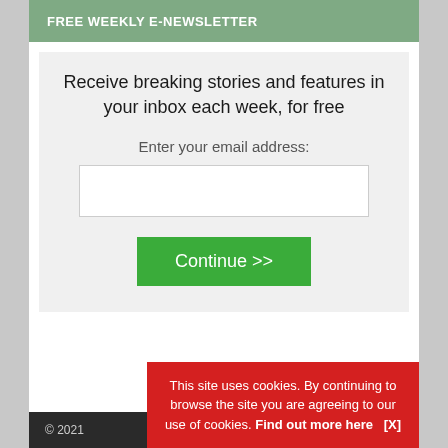FREE WEEKLY E-NEWSLETTER
Receive breaking stories and features in your inbox each week, for free
Enter your email address:
Continue >>
© 2021
This site uses cookies. By continuing to browse the site you are agreeing to our use of cookies. Find out more here   [X]